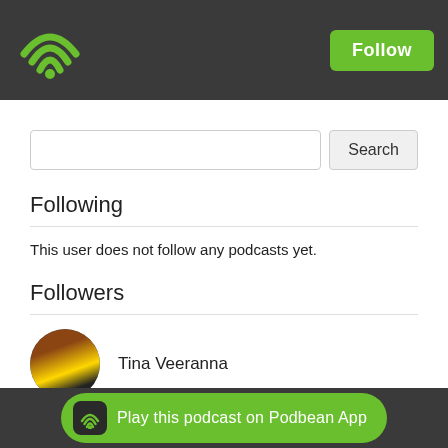[Figure (logo): Podbean green WiFi/podcast logo icon on dark grey top bar]
Follow
Search
Following
This user does not follow any podcasts yet.
Followers
Tina Veeranna
Play this podcast on Podbean App